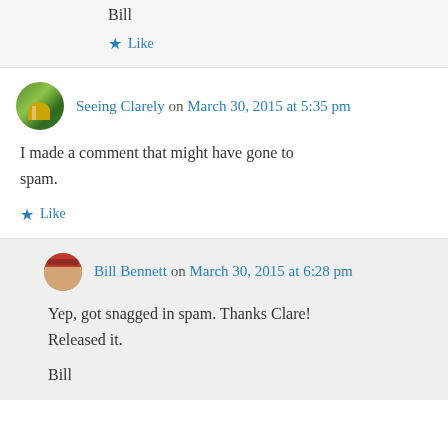Bill
Like
Seeing Clarely on March 30, 2015 at 5:35 pm
I made a comment that might have gone to spam.
Like
Bill Bennett on March 30, 2015 at 6:28 pm
Yep, got snagged in spam. Thanks Clare! Released it.
Bill